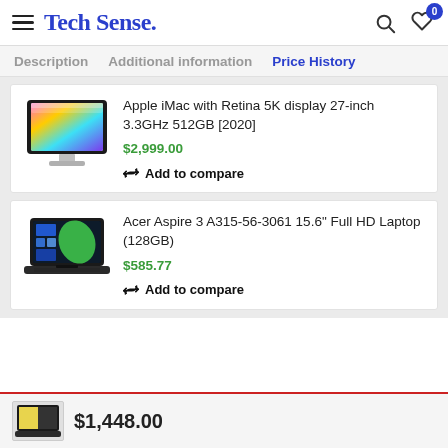Tech Sense.
Description  Additional information  Price History
Apple iMac with Retina 5K display 27-inch 3.3GHz 512GB [2020]
$2,999.00
Add to compare
Acer Aspire 3 A315-56-3061 15.6" Full HD Laptop (128GB)
$585.77
Add to compare
$1,448.00